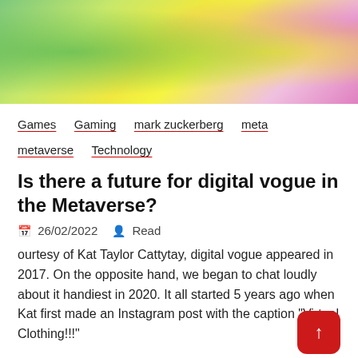[Figure (illustration): Colorful illustrated banner image with green, yellow, and pink elements suggesting a digital/metaverse aesthetic]
Games   Gaming   mark zuckerberg   meta   metaverse   Technology
Is there a future for digital vogue in the Metaverse?
26/02/2022   Read
ourtesy of Kat Taylor Cattytay, digital vogue appeared in 2017. On the opposite hand, we began to chat loudly about it handiest in 2020. It all started 5 years ago when Kat first made an Instagram post with the caption "Virtual Clothing!!!"
Virtual clothing!!!